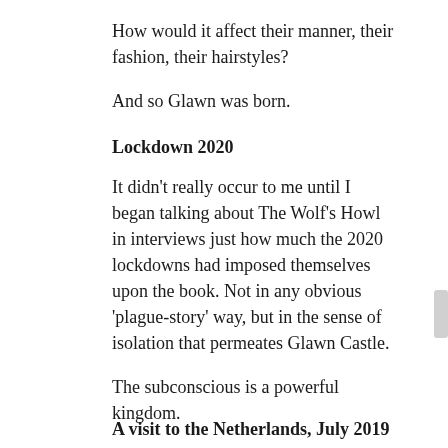How would it affect their manner, their fashion, their hairstyles?
And so Glawn was born.
Lockdown 2020
It didn’t really occur to me until I began talking about The Wolf’s Howl in interviews just how much the 2020 lockdowns had imposed themselves upon the book. Not in any obvious ‘plague-story’ way, but in the sense of isolation that permeates Glawn Castle.
The subconscious is a powerful kingdom.
A visit to the Netherlands, July 2019